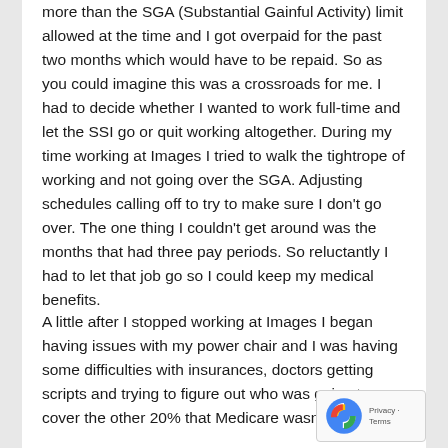more than the SGA (Substantial Gainful Activity) limit allowed at the time and I got overpaid for the past two months which would have to be repaid. So as you could imagine this was a crossroads for me. I had to decide whether I wanted to work full-time and let the SSI go or quit working altogether. During my time working at Images I tried to walk the tightrope of working and not going over the SGA. Adjusting schedules calling off to try to make sure I don't go over. The one thing I couldn't get around was the months that had three pay periods. So reluctantly I had to let that job go so I could keep my medical benefits.
A little after I stopped working at Images I began having issues with my power chair and I was having some difficulties with insurances, doctors getting scripts and trying to figure out who was going to cover the other 20% that Medicare wasn't.